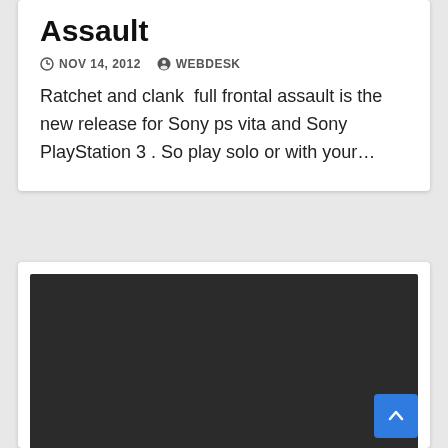Assault
NOV 14, 2012   WEBDESK
Ratchet and clank  full frontal assault is the new release for Sony ps vita and Sony PlayStation 3 . So play solo or with your…
[Figure (screenshot): Dark/black video player or image placeholder area]